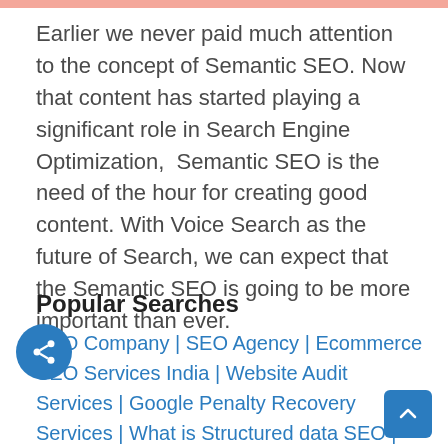Earlier we never paid much attention to the concept of Semantic SEO. Now that content has started playing a significant role in Search Engine Optimization,  Semantic SEO is the need of the hour for creating good content. With Voice Search as the future of Search, we can expect that the Semantic SEO is going to be more important than ever.
Popular Searches
SEO Company | SEO Agency | Ecommerce SEO Services India | Website Audit Services | Google Penalty Recovery Services | What is Structured data SEO | What is Cloaking | Types of SEO | Types of Featured Snippets |